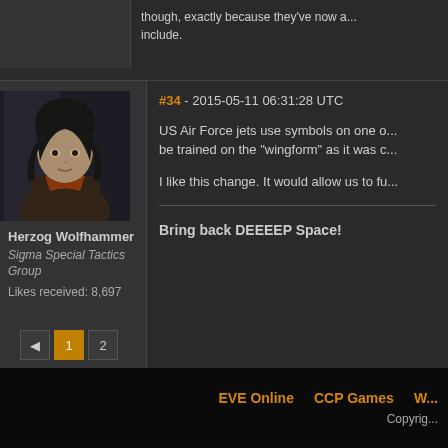though, exactly because they've now a... include.
#34 - 2015-05-11 06:31:28 UTC
[Figure (photo): Avatar portrait of a character with dark hair, dark clothing with orange accent, dark moody background]
Herzog Wolfhammer
Sigma Special Tactics Group
Likes received: 8,697
US Air Force jets use symbols on one o... be trained on the "wingform" as it was c...
I like this change. It would allow us to fu...
Bring back DEEEEP Space!
◄  1  2
EVE Online    CCP Games    W... Copyrig...